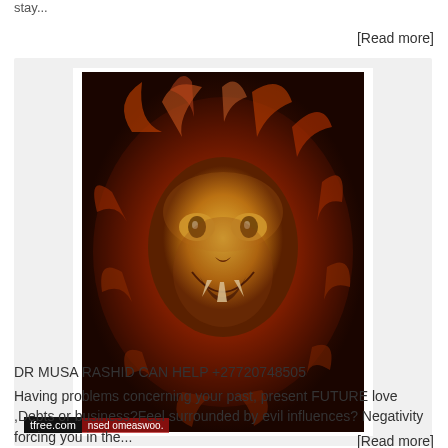stay...
[Read more]
[Figure (illustration): Digital illustration of a fiery lion with glowing golden and red flames surrounding its face, roaring, with watermarks reading 'tfree.com' and 'nsed omeaswoo.']
DR MUSA RASHID CAN HELP +27720748505
Having problems concerning your past, present FUTURE love ,Debts or business?Feel surrounded by evil influences? Negativity forcing you in the...
[Read more]